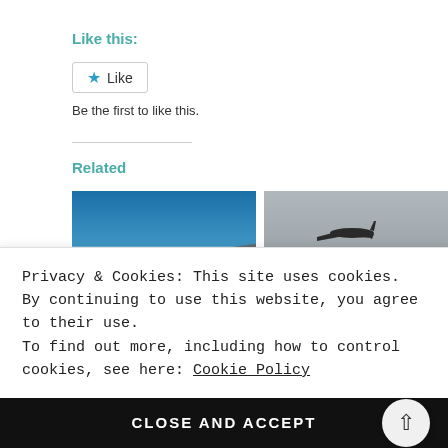Like this:
★ Like
Be the first to like this.
Related
[Figure (photo): Airplane wing viewed from airplane window above clouds and blue sky]
[Figure (photo): Airplane landing or taking off at night with runway lights visible]
Privacy & Cookies: This site uses cookies. By continuing to use this website, you agree to their use.
To find out more, including how to control cookies, see here: Cookie Policy
CLOSE AND ACCEPT